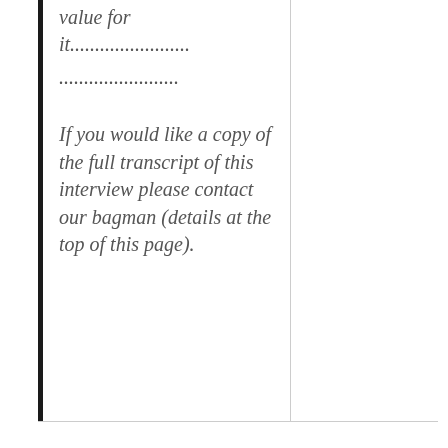value for it........................ ........................
If you would like a copy of the full transcript of this interview please contact our bagman (details at the top of this page).